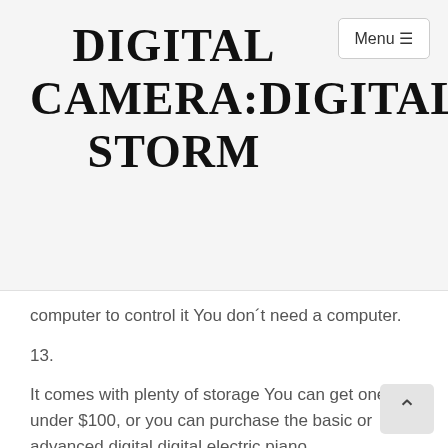DIGITAL CAMERA:DIGITAL STORM
computer to control it You don´t need a computer.
13.
It comes with plenty of storage You can get one for under $100, or you can purchase the basic or advanced digital digital electric piano.
If you want the best value, buy the advanced one.
It comes with a full set of all the keys